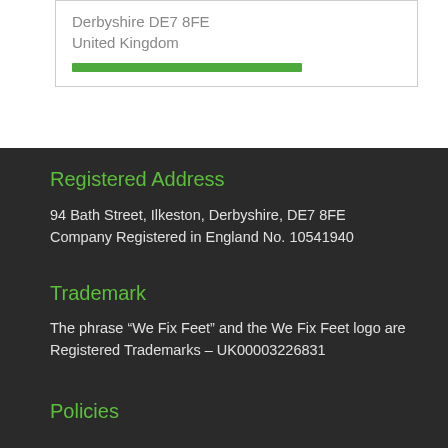Derbyshire DE7 8FE
United Kingdom
Registered Address
94 Bath Street, Ilkeston, Derbyshire, DE7 8FE
Company Registered in England No. 10541940
Trademark
The phrase “We Fix Feet” and the We Fix Feet logo are Registered Trademarks – UK00003226831
Policies